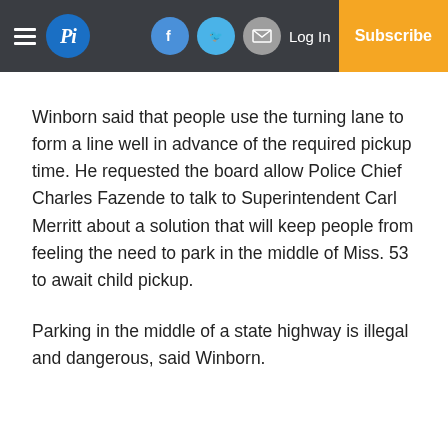Pi | Log In | Subscribe
Winborn said that people use the turning lane to form a line well in advance of the required pickup time. He requested the board allow Police Chief Charles Fazende to talk to Superintendent Carl Merritt about a solution that will keep people from feeling the need to park in the middle of Miss. 53 to await child pickup.
Parking in the middle of a state highway is illegal and dangerous, said Winborn.